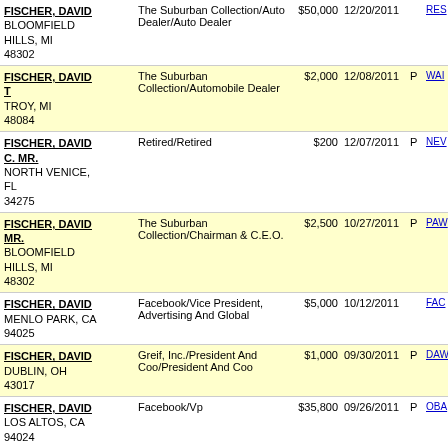| Name/Address | Employer/Occupation | Amount | Date | P | Link |
| --- | --- | --- | --- | --- | --- |
| FISCHER, DAVID
BLOOMFIELD HILLS, MI 48302 | The Suburban Collection/Auto Dealer/Auto Dealer | $50,000 | 12/20/2011 |  | RES |
| FISCHER, DAVID T
TROY, MI 48084 | The Suburban Collection/Automobile Dealer | $2,000 | 12/08/2011 | P | WAI |
| FISCHER, DAVID C. MR.
NORTH VENICE, FL 34275 | Retired/Retired | $200 | 12/07/2011 | P | NEV |
| FISCHER, DAVID MR.
BLOOMFIELD HILLS, MI 48302 | The Suburban Collection/Chairman & C.E.O. | $2,500 | 10/27/2011 | P | PAW |
| FISCHER, DAVID
MENLO PARK, CA 94025 | Facebook/Vice President, Advertising And Global | $5,000 | 10/12/2011 |  | FAC |
| FISCHER, DAVID
DUBLIN, OH 43017 | Greif, Inc./President And Coo/President And Coo | $1,000 | 09/30/2011 | P | DAW |
| FISCHER, DAVID
LOS ALTOS, CA 94024 | Facebook/Vp | $35,800 | 09/26/2011 | P | OBA |
| FISCHER, DAVID T |  |  |  |  |  |